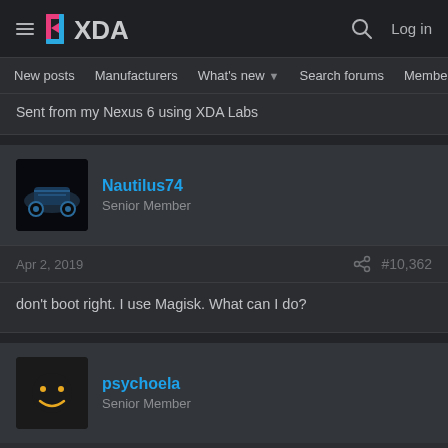XDA — Log in
New posts  Manufacturers  What's new  Search forums  Members  >
Sent from my Nexus 6 using XDA Labs
Nautilus74
Senior Member
Apr 2, 2019  #10,362
don't boot right. I use Magisk. What can I do?
psychoela
Senior Member